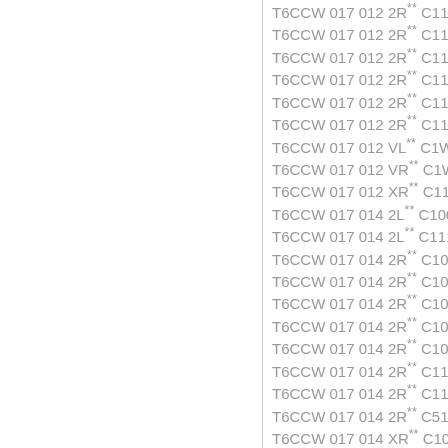T6CCW 017 012 2R** C110
T6CCW 017 012 2R** C111
T6CCW 017 012 2R** C111
T6CCW 017 012 2R** C111
T6CCW 017 012 2R** C11M
T6CCW 017 012 2R** C11M
T6CCW 017 012 VL** C1W1
T6CCW 017 012 VR** C1W1
T6CCW 017 012 XR** C111
T6CCW 017 014 2L** C100
T6CCW 017 014 2L** C111
T6CCW 017 014 2R** C100
T6CCW 017 014 2R** C100
T6CCW 017 014 2R** C100
T6CCW 017 014 2R** C10M
T6CCW 017 014 2R** C10W
T6CCW 017 014 2R** C111
T6CCW 017 014 2R** C111
T6CCW 017 014 2R** C511
T6CCW 017 014 XR** C100
T6CCW 017 014 XR** C100
T6CCW 017 014 XR** C100
T6CCW 017 017 2L** C100